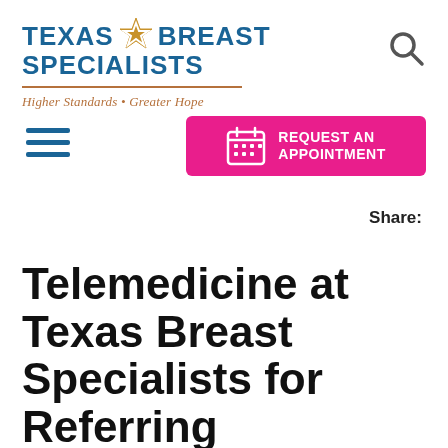[Figure (logo): Texas Breast Specialists logo with gold star, blue text, brown divider line, and italic tagline 'Higher Standards · Greater Hope']
[Figure (other): Search magnifying glass icon, top right]
[Figure (other): Blue hamburger/menu icon with three horizontal lines, left side]
[Figure (other): Pink 'REQUEST AN APPOINTMENT' button with calendar icon]
Share:
Telemedicine at Texas Breast Specialists for Referring Physicians